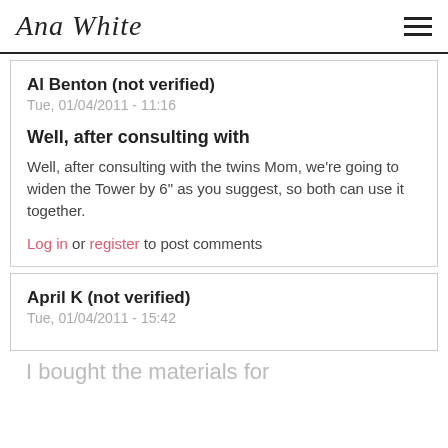Ana White
Al Benton (not verified)
Tue, 01/04/2011 - 11:16
Well, after consulting with
Well, after consulting with the twins Mom, we're going to widen the Tower by 6" as you suggest, so both can use it together.
Log in or register to post comments
April K (not verified)
Tue, 01/04/2011 - 15:42
I bought the materials for